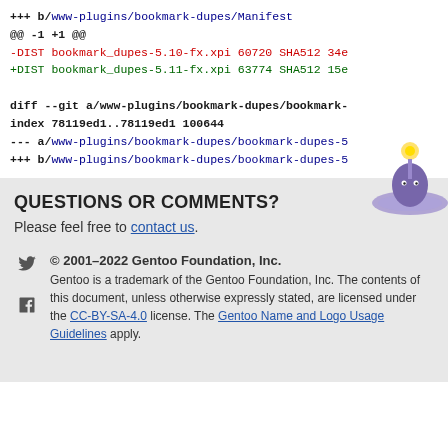+++ b/www-plugins/bookmark-dupes/Manifest
@@ -1 +1 @@
-DIST bookmark_dupes-5.10-fx.xpi 60720 SHA512 34e
+DIST bookmark_dupes-5.11-fx.xpi 63774 SHA512 15e

diff --git a/www-plugins/bookmark-dupes/bookmark-
index 78119ed1..78119ed1 100644
--- a/www-plugins/bookmark-dupes/bookmark-dupes-5
+++ b/www-plugins/bookmark-dupes/bookmark-dupes-5
QUESTIONS OR COMMENTS?
Please feel free to contact us.
© 2001–2022 Gentoo Foundation, Inc.
Gentoo is a trademark of the Gentoo Foundation, Inc. The contents of this document, unless otherwise expressly stated, are licensed under the CC-BY-SA-4.0 license. The Gentoo Name and Logo Usage Guidelines apply.